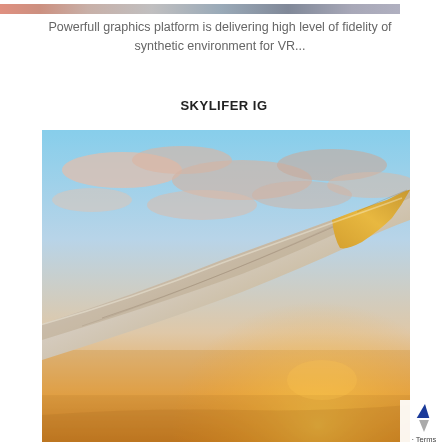[Figure (photo): Partial strip of images at the top of the page — a cropped banner showing multiple photos blended together]
Powerfull graphics platform is delivering high level of fidelity of synthetic environment for VR...
SKYLIFER IG
[Figure (photo): Photograph of an airplane wing tip seen from inside the aircraft, with a dramatic sky full of pink and golden clouds at sunset/sunrise, warm orange glow on the horizon below]
· Terms